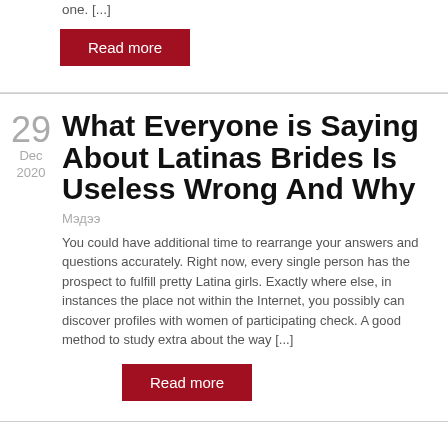one. [...]
Read more
What Everyone is Saying About Latinas Brides Is Useless Wrong And Why
Мэдээ
You could have additional time to rearrange your answers and questions accurately. Right now, every single person has the prospect to fulfill pretty Latina girls. Exactly where else, in instances the place not within the Internet, you possibly can discover profiles with women of participating check. A good method to study extra about the way [...]
Read more
Perfect Internet casino Video games No cost Internet casino Games
Мэдээ
Now free of charge slot machines Vegas-style on the